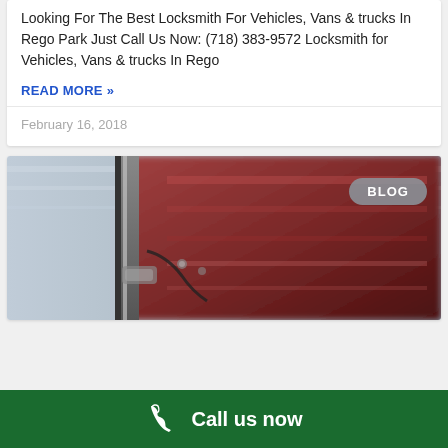Looking For The Best Locksmith For Vehicles, Vans & trucks In Rego Park Just Call Us Now: (718) 383-9572 Locksmith for Vehicles, Vans & trucks In Rego
READ MORE »
February 16, 2018
[Figure (photo): Close-up photo of a car interior showing leather seats and door frame with motion blur, with a BLOG badge overlay in the top right corner]
Call us now